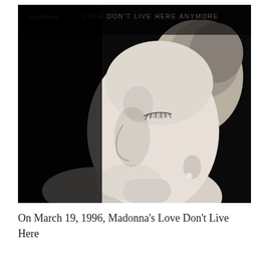[Figure (photo): Black and white album cover photo of Madonna in profile, eyes closed, head tilted back. She has short blonde hair and is wearing a small pearl earring. The top of the cover reads 'madonna LOVE DON'T LIVE HERE ANYMORE' in script and uppercase lettering against a black background.]
On March 19, 1996, Madonna's Love Don't Live Here